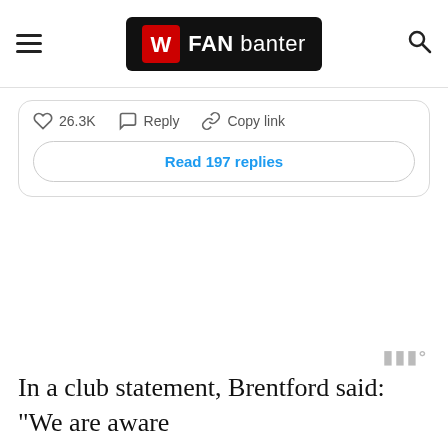FAN banter
26.3K   Reply   Copy link
Read 197 replies
In a club statement, Brentford said: “We are aware